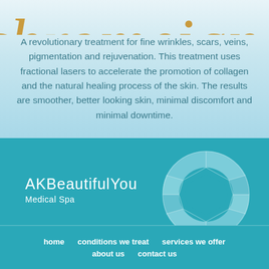[Figure (logo): Partial decorative script logo text (cropped at top of page) in gold/amber color on light teal background]
A revolutionary treatment for fine wrinkles, scars, veins, pigmentation and rejuvenation. This treatment uses fractional lasers to accelerate the promotion of collagen and the natural healing process of the skin. The results are smoother, better looking skin, minimal discomfort and minimal downtime.
[Figure (logo): AKBeautifulYou Medical Spa logo with white text and decorative gem/diamond ring graphic on teal background]
home   conditions we treat   services we offer   about us   contact us